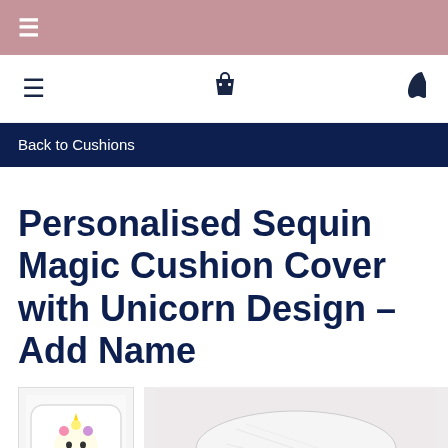☰ (hamburger menu, pink top bar)
☰ (nav bar) 🛍 (bag icon) 📞 (phone icon)
Back to Cushions
Personalised Sequin Magic Cushion Cover with Unicorn Design – Add Name
[Figure (photo): Thumbnail of cushion with unicorn face design on white background]
[Figure (photo): Main product image of sequin cushion cover on light background]